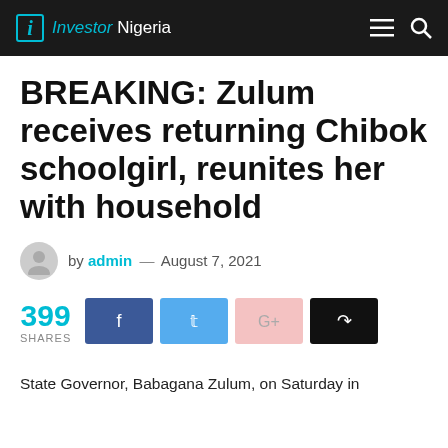i Investor Nigeria
BREAKING: Zulum receives returning Chibok schoolgirl, reunites her with household
by admin — August 7, 2021
399 SHARES
State Governor, Babagana Zulum, on Saturday in